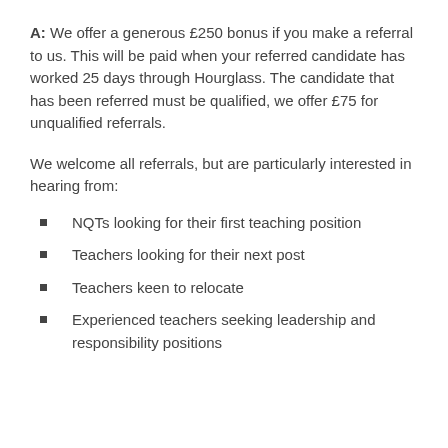A: We offer a generous £250 bonus if you make a referral to us. This will be paid when your referred candidate has worked 25 days through Hourglass. The candidate that has been referred must be qualified, we offer £75 for unqualified referrals.
We welcome all referrals, but are particularly interested in hearing from:
NQTs looking for their first teaching position
Teachers looking for their next post
Teachers keen to relocate
Experienced teachers seeking leadership and responsibility positions